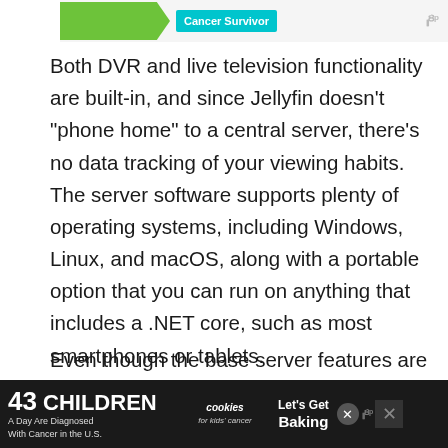[Figure (screenshot): Top advertisement banner with green arrow shape and cyan 'Cancer Survivor' label with logo]
Both DVR and live television functionality are built-in, and since Jellyfin doesn’t “phone home” to a central server, there’s no data tracking of your viewing habits. The server software supports plenty of operating systems, including Windows, Linux, and macOS, along with a portable option that you can run on anything that includes a .NET core, such as most smartphones or tablets.
Even though the base server features are
[Figure (screenshot): Bottom advertisement banner: dark background with '43 CHILDREN A Day Are Diagnosed With Cancer in the U.S.' on left, cookies for kids' cancer logo in middle, 'Let’s Get Baking' on right, with close and dismiss buttons]